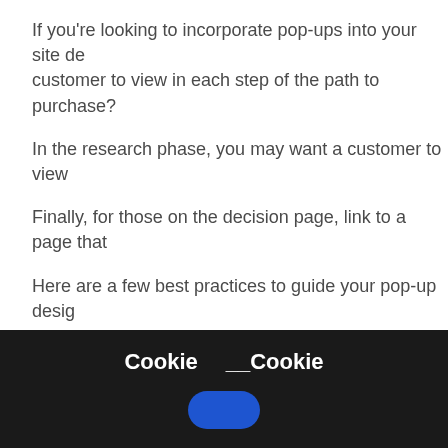If you're looking to incorporate pop-ups into your site de... customer to view in each step of the path to purchase?
In the research phase, you may want a customer to view...
Finally, for those on the decision page, link to a page that...
Here are a few best practices to guide your pop-up desig...
Make sure the information included in the pop-up is o...
Keep text large and easy to read
Always use actionable words like “Shop Now”, rather th...
Cookie  __Cookie